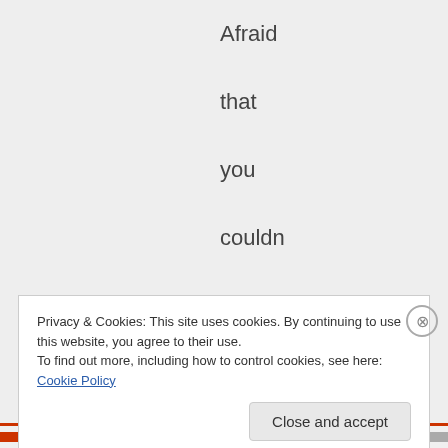Afraid that you couldn't get laid if the lady could say no
Privacy & Cookies: This site uses cookies. By continuing to use this website, you agree to their use.
To find out more, including how to control cookies, see here: Cookie Policy